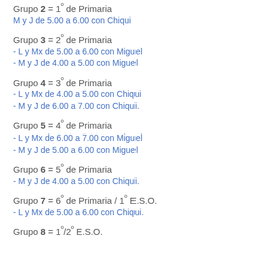Grupo 2 = 1º de Primaria
M y J de 5.00 a 6.00 con Chiqui
Grupo 3 = 2º de Primaria
- L y Mx de 5.00 a 6.00 con Miguel
- M y J de 4.00 a 5.00 con Miguel
Grupo 4 = 3º de Primaria
- L y Mx de 4.00 a 5.00 con Chiqui
- M y J de 6.00 a 7.00 con Chiqui.
Grupo 5 = 4º de Primaria
- L y Mx de 6.00 a 7.00 con Miguel
- M y J de 5.00 a 6.00 con Miguel
Grupo 6 = 5º de Primaria
- M y J de 4.00 a 5.00 con Chiqui.
Grupo 7 = 6º de Primaria / 1º E.S.O.
- L y Mx de 5.00 a 6.00 con Chiqui.
Grupo 8 = 1º/2º E.S.O.